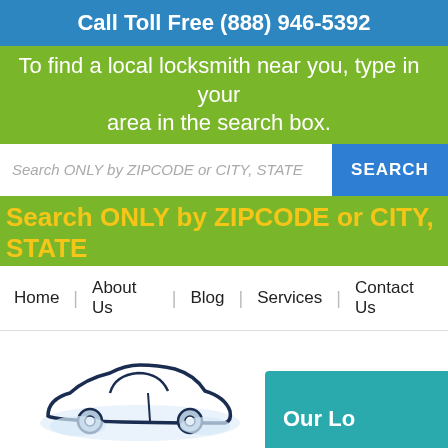Call Toll Free (888) 946-5392
To find a local locksmith near you, type in your area in the search box.
Search ONLY by ZIPCODE or CITY, STATE
SEARCH
Search ONLY by ZIPCODE or CITY, STATE
Home | About Us | Blog | Services | Contact Us
[Figure (logo): Auto Car Locksmith Peach Glen logo with car silhouette outline]
Our Lo